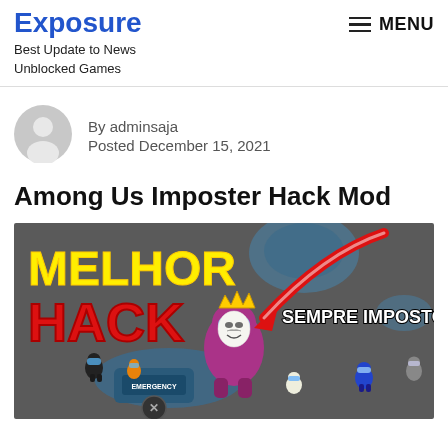Exposure — Best Update to News Unblocked Games — MENU
[Figure (other): Author avatar placeholder: gray circle with white silhouette person icon]
By adminsaja
Posted December 15, 2021
Among Us Imposter Hack Mod
[Figure (screenshot): Among Us game screenshot with text 'MELHOR HACK' in yellow/red and 'SEMPRE IMPOSTOR' in white, featuring a Guy Fawkes masked character and a red arrow pointing at it, with EMERGENCY meeting button visible]